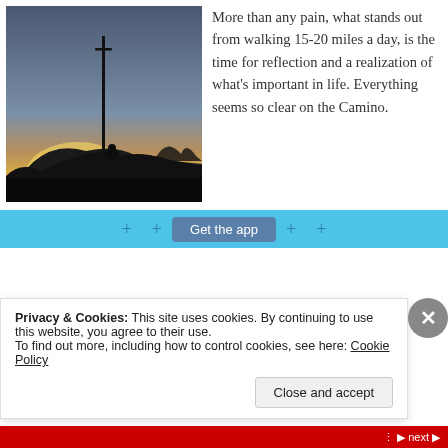[Figure (photo): Silhouette of a person standing on a hilltop with a tall cross-topped pole at sunset/dusk. Orange and yellow glow near horizon, blue-gray sky above.]
More than any pain, what stands out from walking 15-20 miles a day, is the time for reflection and a realization of what's important in life. Everything seems so clear on the Camino.
Get the app
Privacy & Cookies: This site uses cookies. By continuing to use this website, you agree to their use.
To find out more, including how to control cookies, see here: Cookie Policy
Close and accept